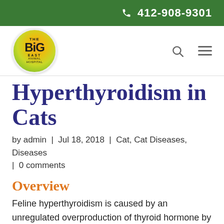412-908-9301
[Figure (logo): Big East Animal Hospital circular logo with green and orange coloring]
Hyperthyroidism in Cats
by admin  |  Jul 18, 2018  |  Cat, Cat Diseases, Diseases  |  0 comments
Overview
Feline hyperthyroidism is caused by an unregulated overproduction of thyroid hormone by the thyroid glands, which is